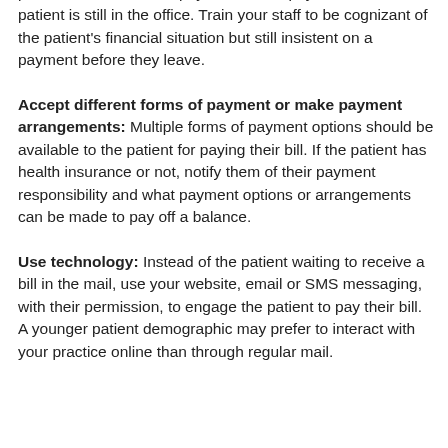practice is to collect co-pays of the first payment while the patient is still in the office. Train your staff to be cognizant of the patient's financial situation but still insistent on a payment before they leave.
Accept different forms of payment or make payment arrangements: Multiple forms of payment options should be available to the patient for paying their bill. If the patient has health insurance or not, notify them of their payment responsibility and what payment options or arrangements can be made to pay off a balance.
Use technology: Instead of the patient waiting to receive a bill in the mail, use your website, email or SMS messaging, with their permission, to engage the patient to pay their bill. A younger patient demographic may prefer to interact with your practice online than through regular mail.